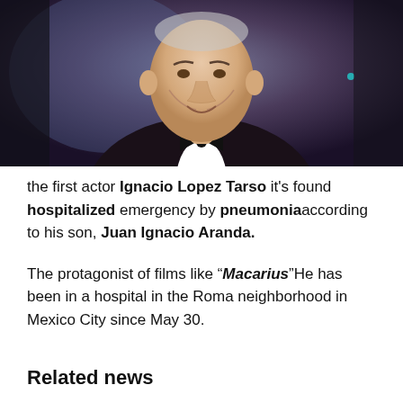[Figure (photo): Elderly man in a black tuxedo with bow tie, smiling, against a dark background at a formal event. This is actor Ignacio Lopez Tarso.]
the first actor Ignacio Lopez Tarso it's found hospitalized emergency by pneumonia according to his son, Juan Ignacio Aranda.
The protagonist of films like "Macarius" He has been in a hospital in the Roma neighborhood in Mexico City since May 30.
Related news